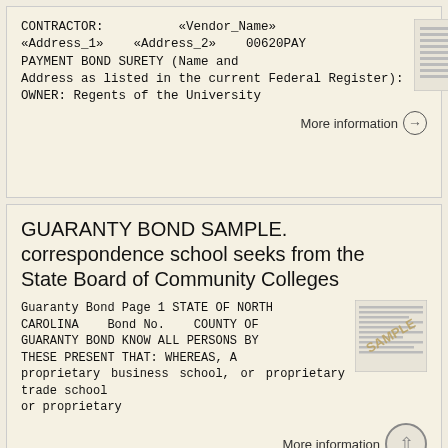CONTRACTOR: «Vendor_Name» «Address_1» «Address_2» 00620PAY PAYMENT BOND SURETY (Name and Address as listed in the current Federal Register): OWNER: Regents of the University
[Figure (screenshot): Thumbnail image of a document page with text lines]
More information →
GUARANTY BOND SAMPLE. correspondence school seeks from the State Board of Community Colleges
Guaranty Bond Page 1 STATE OF NORTH CAROLINA Bond No. COUNTY OF GUARANTY BOND KNOW ALL PERSONS BY THESE PRESENT THAT: WHEREAS, A proprietary business school, or proprietary trade school or proprietary
[Figure (screenshot): Thumbnail image of a sample document page stamped SAMPLE]
More information →